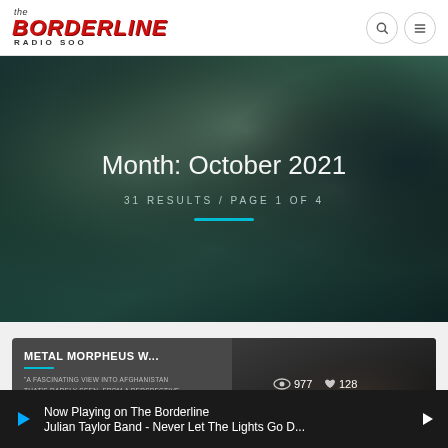the BORDERLINE RADIO SOO
Month: October 2021
31 RESULTS / PAGE 1 OF 4
[Figure (screenshot): Dark teal cloudy sky background image used as hero banner]
METAL MORPHEUS W... 977 128
"A FASCINATING VIEW INTO AFGHANISTAN THAT'S RARELY SEEN, FROM A PERSPECTIVE THAT ROUGHLY EVER SEEN IN A BAND...
Now Playing on The Borderline
Julian Taylor Band - Never Let The Lights Go D...